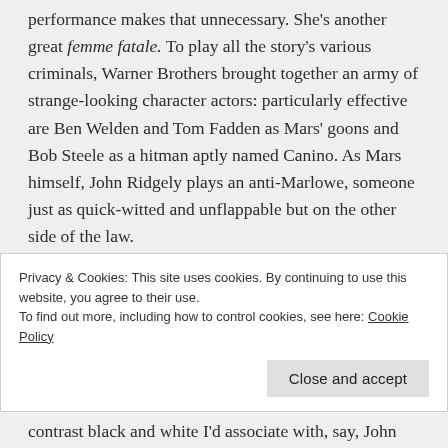performance makes that unnecessary. She's another great femme fatale. To play all the story's various criminals, Warner Brothers brought together an army of strange-looking character actors: particularly effective are Ben Welden and Tom Fadden as Mars' goons and Bob Steele as a hitman aptly named Canino. As Mars himself, John Ridgely plays an anti-Marlowe, someone just as quick-witted and unflappable but on the other side of the law.
While The Big Sleep undoubtedly ranks among the great films noir, its visual style doesn't always match the genre's iconic look. When I think of noir, I think of
Privacy & Cookies: This site uses cookies. By continuing to use this website, you agree to their use.
To find out more, including how to control cookies, see here: Cookie Policy
contrast black and white I'd associate with, say, John